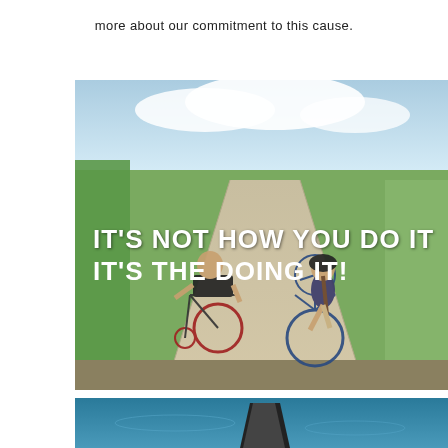more about our commitment to this cause.
[Figure (photo): Two people from behind on a path — one in a wheelchair and one on a bicycle — surrounded by greenery, with text overlay reading IT'S NOT HOW YOU DO IT IT'S THE DOING IT!]
[Figure (photo): Partial view of a person in water, showing what appears to be a flipper or adaptive swimming equipment, with blue water visible.]